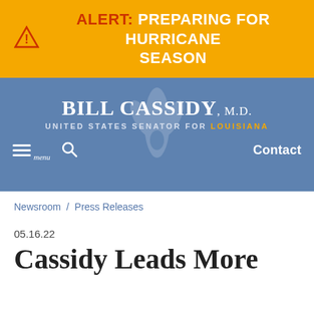ALERT: PREPARING FOR HURRICANE SEASON
[Figure (screenshot): Bill Cassidy M.D. United States Senator for Louisiana website header with navigation menu, search icon, and Contact button on a blue-grey background with a faint fleur-de-lis watermark.]
Newsroom / Press Releases
05.16.22
Cassidy Leads More